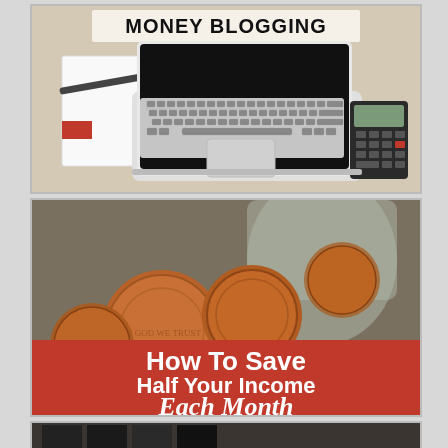[Figure (photo): Laptop and calculator on a desk with notebook, with text 'MONEY BLOGGING' at the top]
[Figure (photo): Coins/pennies spilling from a jar with red banner overlay text reading 'How To Save Half Your Income Each Month']
[Figure (photo): Partial view of dark objects, bottom card (partially visible)]